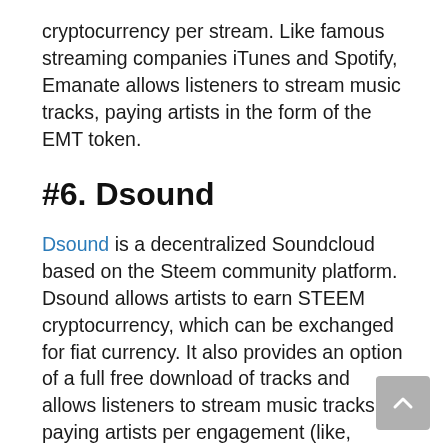cryptocurrency per stream. Like famous streaming companies iTunes and Spotify, Emanate allows listeners to stream music tracks, paying artists in the form of the EMT token.
#6. Dsound
Dsound is a decentralized Soundcloud based on the Steem community platform. Dsound allows artists to earn STEEM cryptocurrency, which can be exchanged for fiat currency. It also provides an option of a full free download of tracks and allows listeners to stream music tracks, paying artists per engagement (like, comment, or repost). Unlike most other sound platforms in the cryptocurrency music industry, Dsound